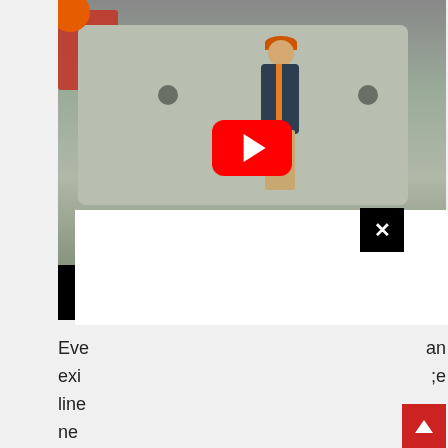[Figure (screenshot): A YouTube video thumbnail showing a person in an orange cap and dark jacket standing next to a large concrete block. A red truck is visible on the left. The video has a YouTube play button overlay. Below the video frame is a white overlay panel with a black X close button. Black bars appear on the left and right at the bottom of the video area.]
Eve... an
exi... ;e
line...
ne... t
in t...